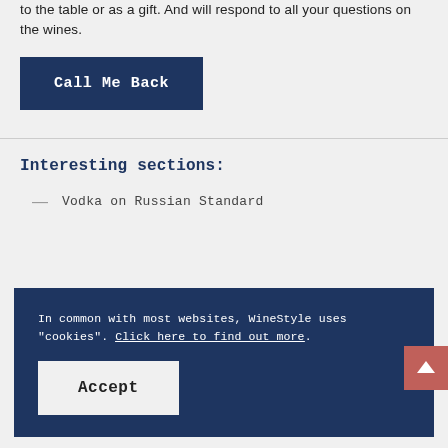to the table or as a gift. And will respond to all your questions on the wines.
Call Me Back
Interesting sections:
— Vodka on Russian Standard
In common with most websites, WineStyle uses "cookies". Click here to find out more.
Accept
Color